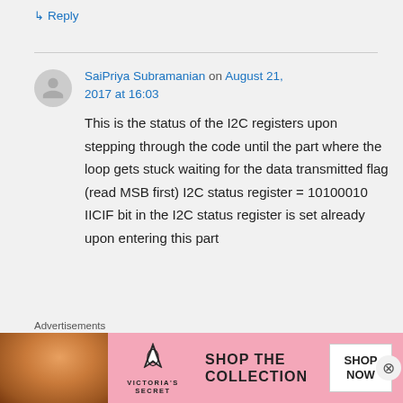↳ Reply
SaiPriya Subramanian on August 21, 2017 at 16:03
This is the status of the I2C registers upon stepping through the code until the part where the loop gets stuck waiting for the data transmitted flag (read MSB first) I2C status register = 10100010 IICIF bit in the I2C status register is set already upon entering this part
Advertisements
[Figure (photo): Victoria's Secret advertisement banner with a model, VS logo, 'SHOP THE COLLECTION' text, and a 'SHOP NOW' button]